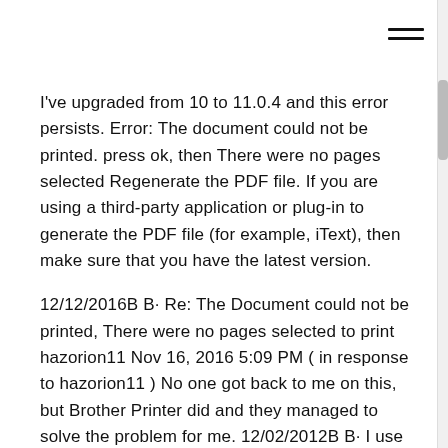[Figure (other): Hamburger menu icon (three horizontal lines) in upper right corner]
I've upgraded from 10 to 11.0.4 and this error persists. Error: The document could not be printed. press ok, then There were no pages selected Regenerate the PDF file. If you are using a third-party application or plug-in to generate the PDF file (for example, iText), then make sure that you have the latest version.
12/12/2016B B· Re: The Document could not be printed, There were no pages selected to print hazorion11 Nov 16, 2016 5:09 PM ( in response to hazorion11 ) No one got back to me on this, but Brother Printer did and they managed to solve the problem for me. 12/02/2012B B· I use Windows Vista and an Epson SX425W printer,